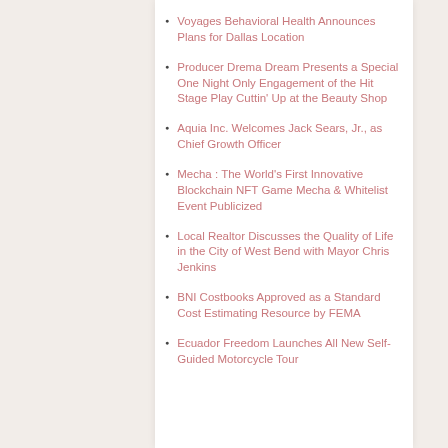Voyages Behavioral Health Announces Plans for Dallas Location
Producer Drema Dream Presents a Special One Night Only Engagement of the Hit Stage Play Cuttin' Up at the Beauty Shop
Aquia Inc. Welcomes Jack Sears, Jr., as Chief Growth Officer
Mecha : The World's First Innovative Blockchain NFT Game Mecha & Whitelist Event Publicized
Local Realtor Discusses the Quality of Life in the City of West Bend with Mayor Chris Jenkins
BNI Costbooks Approved as a Standard Cost Estimating Resource by FEMA
Ecuador Freedom Launches All New Self-Guided Motorcycle Tour